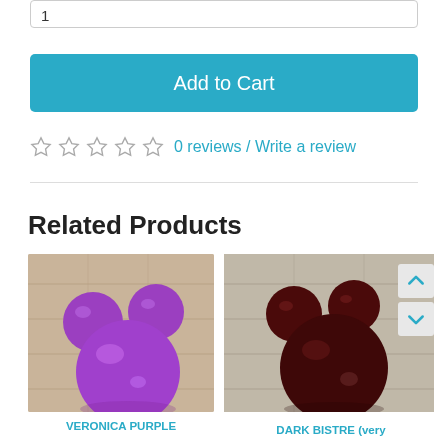1
Add to Cart
0 reviews / Write a review
Related Products
[Figure (photo): Three glossy purple spherical balls on a wooden floor background — VERONICA PURPLE product image]
[Figure (photo): Three glossy dark maroon/bistre spherical balls on a wooden floor background — DARK BISTRE product image]
VERONICA PURPLE
DARK BISTRE (very